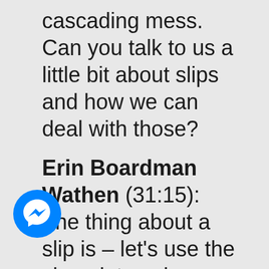cascading mess. Can you talk to us a little bit about slips and how we can deal with those?
Erin Boardman Wathen (31:15): The thing about a slip is – let's use the chocolate cake thing because it's nice and easy. It seems like it's no big deal, but we need to be very
[Figure (logo): Facebook Messenger blue circle icon with white lightning bolt/chat bubble logo]